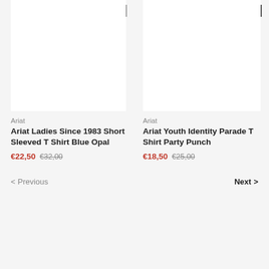30% off
Only 1 left
Ariat
Ariat Ladies Since 1983 Short Sleeved T Shirt Blue Opal
€22,50  €32,00
Ariat
Ariat Youth Identity Parade T Shirt Party Punch
€18,50  €25,00
< Previous
Next >